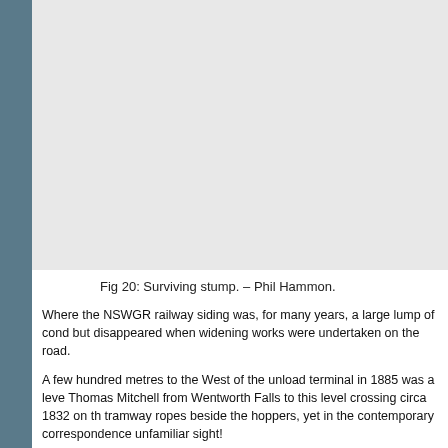[Figure (photo): Photograph area showing a surviving stump, top portion of page (cropped/partially visible)]
Fig 20: Surviving stump. – Phil Hammon.
Where the NSWGR railway siding was, for many years, a large lump of cond but disappeared when widening works were undertaken on the road.
A few hundred metres to the West of the unload terminal in 1885 was a leve Thomas Mitchell from Wentworth Falls to this level crossing circa 1832 on th tramway ropes beside the hoppers, yet in the contemporary correspondence unfamiliar sight!
A small 100 metre section of this road remains, at the rear of Kedumba Park
The Gladstone Colliery closed after shipping only 745 tons of coal up to the about 5 days. The figure of 745 tons comes from NSWGR records of shipme
The return sheave from the siding end of the ropeway is now outside the Gle 34)
We do know that John Britty North was operating the Katoomba Coal and Sh of developing his Oil Shale deposits 2 miles from his coal mine across a 600